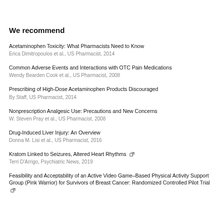We recommend
Acetaminophen Toxicity: What Pharmacists Need to Know
Erica Dimitropoulos et al., US Pharmacist, 2014
Common Adverse Events and Interactions with OTC Pain Medications
Wendy Bearden Cook et al., US Pharmacist, 2008
Prescribing of High-Dose Acetaminophen Products Discouraged
By Staff, US Pharmacist, 2014
Nonprescription Analgesic Use: Precautions and New Concerns
W. Steven Pray et al., US Pharmacist, 2008
Drug-Induced Liver Injury: An Overview
Donna M. Lisi et al., US Pharmacist, 2016
Kratom Linked to Seizures, Altered Heart Rhythms [external link]
Terri D'Arrigo, Psychiatric News, 2019
Feasibility and Acceptability of an Active Video Game–Based Physical Activity Support Group (Pink Warrior) for Survivors of Breast Cancer: Randomized Controlled Pilot Trial [external link]